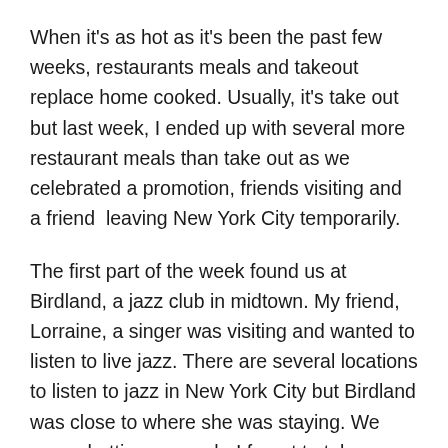When it's as hot as it's been the past few weeks, restaurants meals and takeout replace home cooked. Usually, it's take out but last week, I ended up with several more restaurant meals than take out as we celebrated a promotion, friends visiting and a friend  leaving New York City temporarily.
The first part of the week found us at Birdland, a jazz club in midtown. My friend, Lorraine, a singer was visiting and wanted to listen to live jazz. There are several locations to listen to jazz in New York City but Birdland was close to where she was staying. We were chatting so much, I forgot to take photos of the meal when it arrived, and photography was not allowed when the Loston Harris Quartet, with special guest singer, Monica Behan, took the stage.
Later in the week, we celebrated our friend's Judith's promotion with a meal at Abe, a Turkish restaurant on